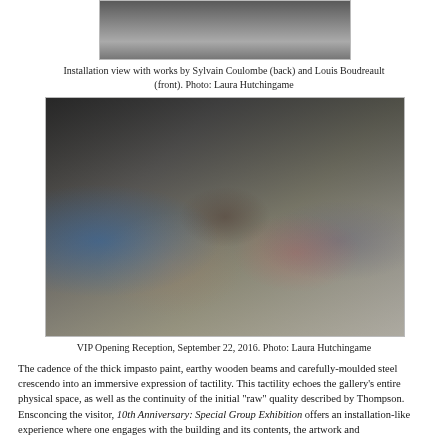[Figure (photo): Close-up installation view of sculptural work, partial image at top of page]
Installation view with works by Sylvain Coulombe (back) and Louis Boudreault (front). Photo: Laura Hutchingame
[Figure (photo): VIP Opening Reception at gallery space showing crowd of visitors mingling among artwork, September 22, 2016. Photo: Laura Hutchingame]
VIP Opening Reception, September 22, 2016. Photo: Laura Hutchingame
The cadence of the thick impasto paint, earthy wooden beams and carefully-moulded steel crescendo into an immersive expression of tactility. This tactility echoes the gallery’s entire physical space, as well as the continuity of the initial “raw” quality described by Thompson. Ensconcing the visitor, 10th Anniversary: Special Group Exhibition offers an installation-like experience where one engages with the building and its contents, the artwork and